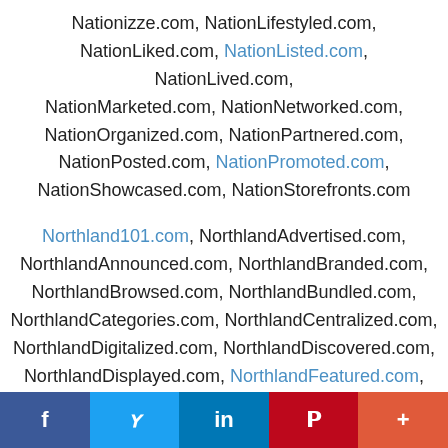Nationizze.com, NationLifestyled.com, NationLiked.com, NationListed.com, NationLived.com, NationMarketed.com, NationNetworked.com, NationOrganized.com, NationPartnered.com, NationPosted.com, NationPromoted.com, NationShowcased.com, NationStorefronts.com
Northland101.com, NorthlandAdvertised.com, NorthlandAnnounced.com, NorthlandBranded.com, NorthlandBrowsed.com, NorthlandBundled.com, NorthlandCategories.com, NorthlandCentralized.com, NorthlandDigitalized.com, NorthlandDiscovered.com, NorthlandDisplayed.com, NorthlandFeatured.com, NorthlandExplored.com, NorthlandFollowed.com, NorthlandHighlighted.com, NorthlandHQ.com, NorthlandLifestyled.com
NorthlandLiked.com, NorthlandListed.com
f  Twitter  in  P  +